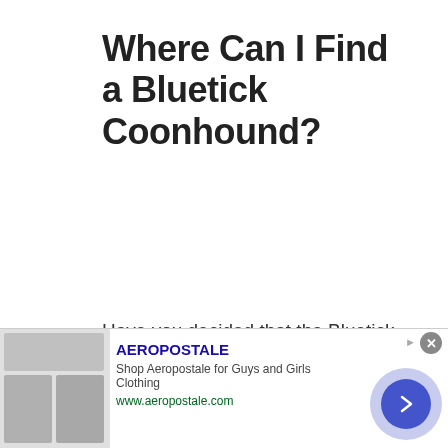Where Can I Find a Bluetick Coonhound?
Have you decided that the Bluetick Coonhound is the best dog for you and your family? Can you meet all of their needs? The next question you will have is where you can find this furry friend. The best place you can start looking is at the local animal shelter. You are going to find a lot of dogs here that are looking for a
[Figure (screenshot): Advertisement banner for Aeropostale showing clothing images on the left, brand name 'AEROPOSTALE' in blue, tagline 'Shop Aeropostale for Guys and Girls Clothing', URL 'www.aeropostale.com' in green, and a navigation arrow button on the right.]